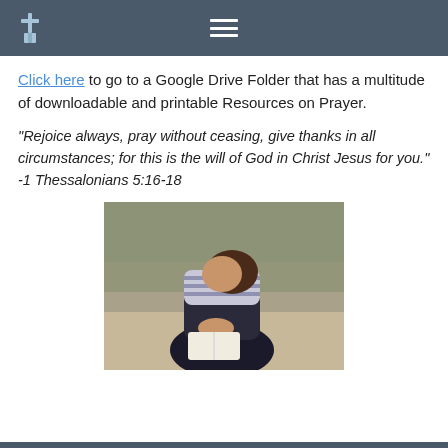[Church logo] [Hamburger menu]
Click here to go to a Google Drive Folder that has a multitude of downloadable and printable Resources on Prayer.
“Rejoice always, pray without ceasing, give thanks in all circumstances; for this is the will of God in Christ Jesus for you.” -1 Thessalonians 5:16-18
[Figure (photo): A woman kneeling outdoors on sandy ground with hands clasped in prayer over an open book, head bowed, wearing a striped shirt.]